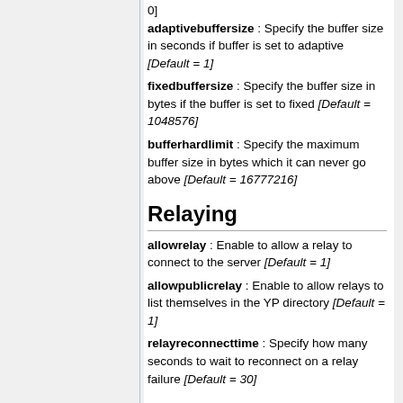0]
adaptivebuffersize : Specify the buffer size in seconds if buffer is set to adaptive [Default = 1]
fixedbuffersize : Specify the buffer size in bytes if the buffer is set to fixed [Default = 1048576]
bufferhardlimit : Specify the maximum buffer size in bytes which it can never go above [Default = 16777216]
Relaying
allowrelay : Enable to allow a relay to connect to the server [Default = 1]
allowpublicrelay : Enable to allow relays to list themselves in the YP directory [Default = 1]
relayreconnecttime : Specify how many seconds to wait to reconnect on a relay failure [Default = 30]